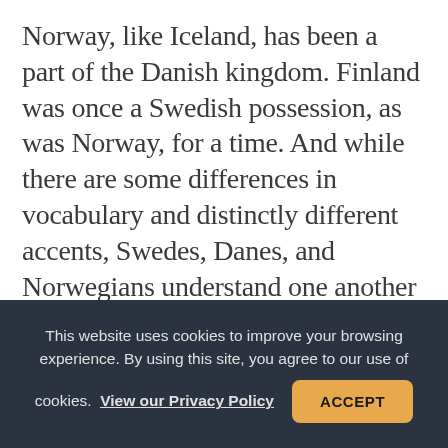Norway, like Iceland, has been a part of the Danish kingdom. Finland was once a Swedish possession, as was Norway, for a time. And while there are some differences in vocabulary and distinctly different accents, Swedes, Danes, and Norwegians understand one another well enough. Icelandic appears a bit more difficult–much of its vocabulary is based on Old Norse. Only Finland goes its own way linguistically, with a language that is incomprehensible to other Scandinavians. Curiously, according
This website uses cookies to improve your browsing experience. By using this site, you agree to our use of cookies. View our Privacy Policy ACCEPT